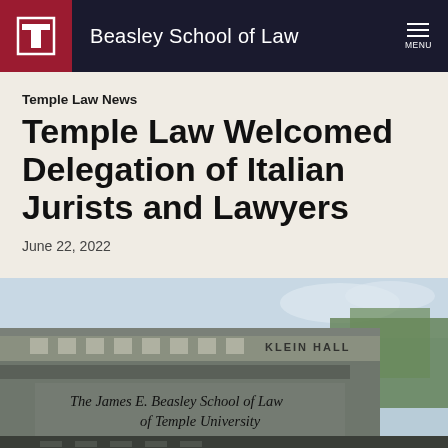Beasley School of Law
Temple Law News
Temple Law Welcomed Delegation of Italian Jurists and Lawyers
June 22, 2022
[Figure (photo): Exterior photo of Klein Hall, The James E. Beasley School of Law of Temple University building facade with signage]